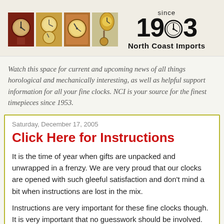[Figure (logo): North Coast Imports logo with four clock photos and 'since 1953' text with clock face in the '5']
Watch this space for current and upcoming news of all things horological and mechanically interesting, as well as helpful support information for all your fine clocks. NCI is your source for the finest timepieces since 1953.
Saturday, December 17, 2005
Click Here for Instructions
It is the time of year when gifts are unpacked and unwrapped in a frenzy. We are very proud that our clocks are opened with such gleeful satisfaction and don't mind a bit when instructions are lost in the mix.
Instructions are very important for these fine clocks though. It is very important that no guesswork should be involved.